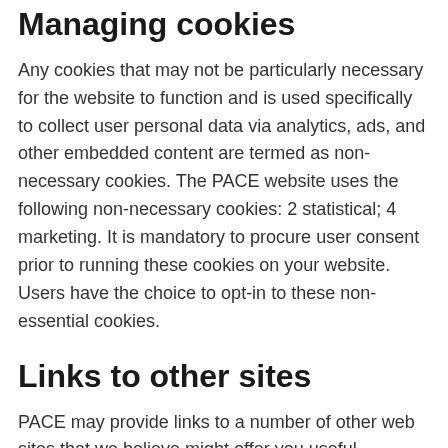Managing cookies
Any cookies that may not be particularly necessary for the website to function and is used specifically to collect user personal data via analytics, ads, and other embedded content are termed as non-necessary cookies. The PACE website uses the following non-necessary cookies: 2 statistical; 4 marketing. It is mandatory to procure user consent prior to running these cookies on your website. Users have the choice to opt-in to these non-essential cookies.
Links to other sites
PACE may provide links to a number of other web sites that we believe might offer you useful information and services. However,